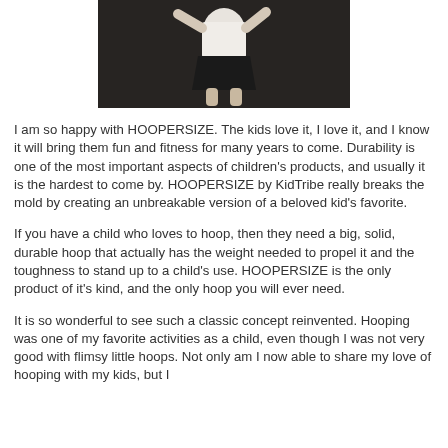[Figure (photo): A child in a white top and black skirt appearing to hoop, photographed against a dark background. The image is cropped showing only the torso and lower body.]
I am so happy with HOOPERSIZE. The kids love it, I love it, and I know it will bring them fun and fitness for many years to come. Durability is one of the most important aspects of children's products, and usually it is the hardest to come by. HOOPERSIZE by KidTribe really breaks the mold by creating an unbreakable version of a beloved kid's favorite.
If you have a child who loves to hoop, then they need a big, solid, durable hoop that actually has the weight needed to propel it and the toughness to stand up to a child's use. HOOPERSIZE is the only product of it's kind, and the only hoop you will ever need.
It is so wonderful to see such a classic concept reinvented. Hooping was one of my favorite activities as a child, even though I was not very good with flimsy little hoops. Not only am I now able to share my love of hooping with my kids, but I